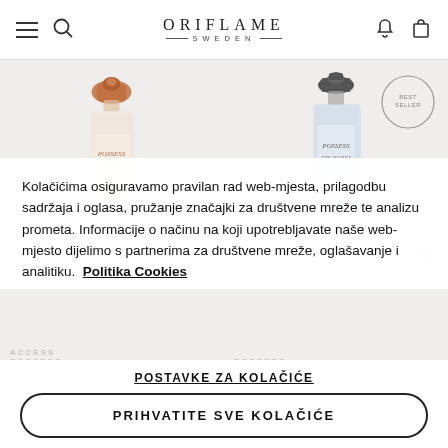ORIFLAME SWEDEN
[Figure (photo): Oriflame website product listing page showing two perfume bottles (Possess The Secret for women and Possess The Secret Man) with a cookie consent overlay dialog in Croatian language]
Kolačićima osiguravamo pravilan rad web-mjesta, prilagodbu sadržaja i oglasa, pružanje značajki za društvene mreže te analizu prometa. Informacije o načinu na koji upotrebljavate naše web-mjesto dijelimo s partnerima za društvene mreže, oglašavanje i analitiku.  Politika Cookies
POSTAVKE ZA KOLAČIĆE
PRIHVATITE SVE KOLAČIĆE